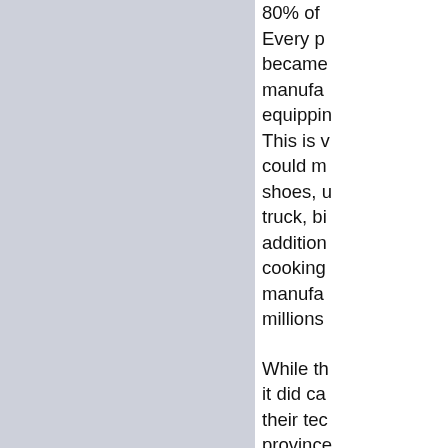80% of Every p became manufa equippin This is v could m shoes, u truck, bi addition cooking manufa millions While th it did ca their tec province with adv we see such olc just rece led loca to expa order pr